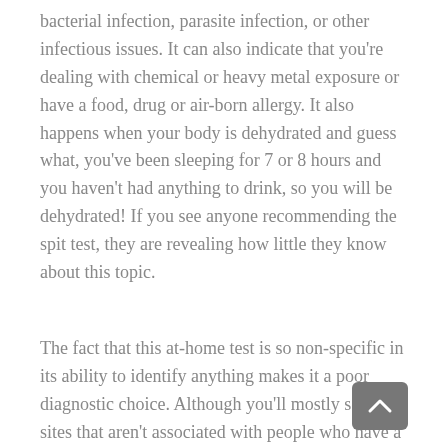bacterial infection, parasite infection, or other infectious issues. It can also indicate that you're dealing with chemical or heavy metal exposure or have a food, drug or air-born allergy. It also happens when your body is dehydrated and guess what, you've been sleeping for 7 or 8 hours and you haven't had anything to drink, so you will be dehydrated! If you see anyone recommending the spit test, they are revealing how little they know about this topic.
The fact that this at-home test is so non-specific in its ability to identify anything makes it a poor diagnostic choice. Although you'll mostly see it on sites that aren't associated with people who have a health degree of any kind and therefore they have no other way to try and convince you that you have candida, occasionally, you'll